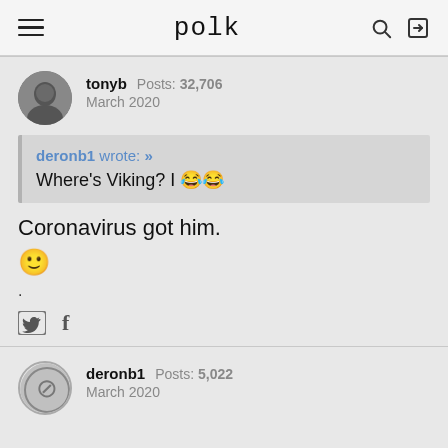polk
tonyb  Posts: 32,706  March 2020
deronb1 wrote: »
Where's Viking? I 😂😂
Coronavirus got him.
🙂
.
deronb1  Posts: 5,022  March 2020